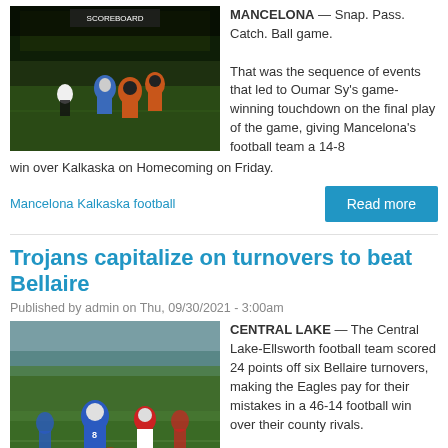[Figure (photo): Night football game action photo showing players in orange and blue uniforms on a grass field]
MANCELONA — Snap. Pass. Catch. Ball game.

That was the sequence of events that led to Oumar Sy's game-winning touchdown on the final play of the game, giving Mancelona's football team a 14-8 win over Kalkaska on Homecoming on Friday.
Mancelona Kalkaska football
Trojans capitalize on turnovers to beat Bellaire
Published by admin on Thu, 09/30/2021 - 3:00am
[Figure (photo): Daytime football game action photo showing players in blue and white uniforms on a grass field]
CENTRAL LAKE — The Central Lake-Ellsworth football team scored 24 points off six Bellaire turnovers, making the Eagles pay for their mistakes in a 46-14 football win over their county rivals.